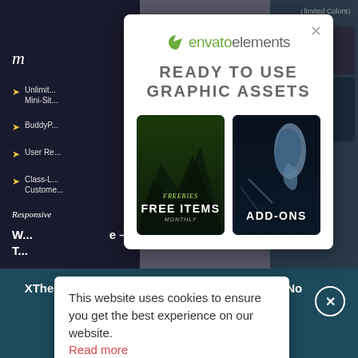[Figure (screenshot): Background website page partially visible behind modal overlays, showing dark left panel with menu items, right panel with app screenshots, and page title text]
[Figure (screenshot): Envato Elements modal dialog with logo, 'READY TO USE GRAPHIC ASSETS' heading, and two buttons: FREE ITEMS and ADD-ONS]
envato elements
READY TO USE
GRAPHIC ASSETS
FREE ITEMS
ADD-ONS
[Figure (screenshot): Cookie consent notice popup with text about cookies and Read more link]
This website uses cookies to ensure you get the best experience on our website. Read more
XTheme - Create your perfect site in minutes! No coding required
GET IT NOW!